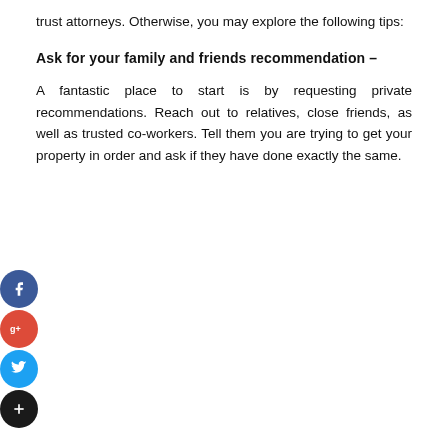trust attorneys. Otherwise, you may explore the following tips:
Ask for your family and friends recommendation –
A fantastic place to start is by requesting private recommendations. Reach out to relatives, close friends, as well as trusted co-workers. Tell them you are trying to get your property in order and ask if they have done exactly the same.
[Figure (infographic): Social media share buttons: Facebook (blue), Google+ (red), Twitter (light blue), and a black add/share button, arranged vertically on the left side of the page.]